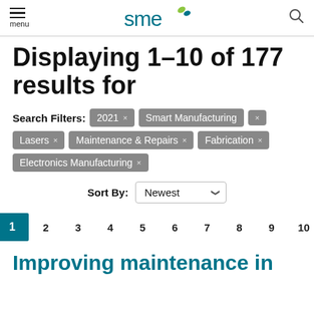menu | sme logo | search
Displaying 1–10 of 177 results for
Search Filters: 2021 × Smart Manufacturing × Lasers × Maintenance & Repairs × Fabrication × Electronics Manufacturing ×
Sort By: Newest
PREV 1 2 3 4 5 6 7 8 9 10 NEXT
Improving maintenance in